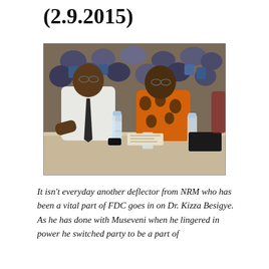(2.9.2015)
[Figure (photo): Two men seated at a conference table in conversation. The man on the left wears a white shirt and dark tie with glasses; the man on the right wears an orange patterned shirt. Many attendees are visible in the background. Water bottles and documents are on the table.]
It isn't everyday another deflector from NRM who has been a vital part of FDC goes in on Dr. Kizza Besigye. As he has done with Museveni when he lingered in power he switched party to be a part of